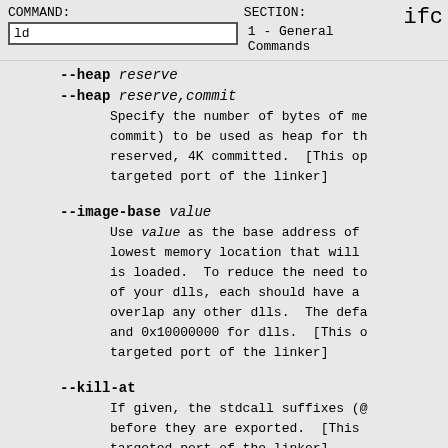COMMAND: ld   SECTION: 1 - General Commands   ific
--heap reserve
--heap reserve,commit
    Specify the number of bytes of me commit) to be used as heap for th reserved, 4K committed.  [This op targeted port of the linker]
--image-base value
    Use value as the base address of lowest memory location that will is loaded.  To reduce the need to of your dlls, each should have a overlap any other dlls.  The defa and 0x10000000 for dlls.  [This o targeted port of the linker]
--kill-at
    If given, the stdcall suffixes (@ before they are exported.  [This targeted port of the linker]
--large-address-aware